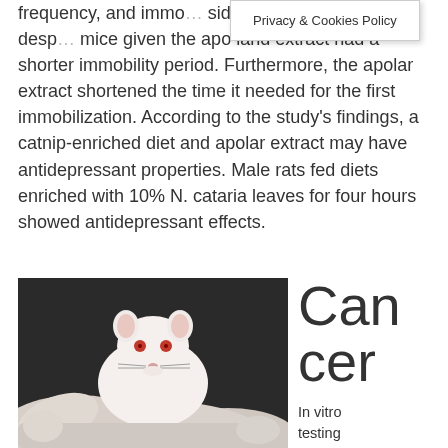frequency, and immo… side test. The behavioural desp… mice given the apo land extract had a shorter immobility period. Furthermore, the apolar extract shortened the time it needed for the first immobilization. According to the study's findings, a catnip-enriched diet and apolar extract may have antidepressant properties. Male rats fed diets enriched with 10% N. cataria leaves for four hours showed antidepressant effects.
Privacy & Cookies Policy
[Figure (photo): A white albino mouse (or rat) being held by gloved hands, facing the camera. The animal has red eyes and pink ears. Shot close-up against a dark background.]
Cancer
In vitro testing In an in vi…